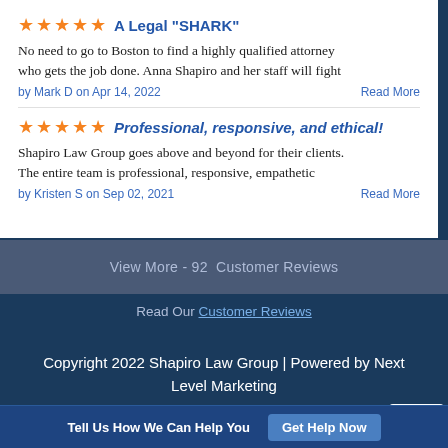★★★★★ A Legal "SHARK"
No need to go to Boston to find a highly qualified attorney who gets the job done. Anna Shapiro and her staff will fight
by Mark D on Apr 14, 2022   Read More
★★★★★ Professional, responsive, and ethical!
Shapiro Law Group goes above and beyond for their clients. The entire team is professional, responsive, empathetic
by Kristen S on Sep 02, 2021   Read More
View More - 92  Customer Reviews
Read Our Customer Reviews
Copyright 2022 Shapiro Law Group | Powered by Next Level Marketing
[Figure (infographic): Social media icons: Facebook, Twitter, Google, LinkedIn in white]
[Figure (logo): reCAPTCHA badge]
Tell Us How We Can Help You   Get Help Now